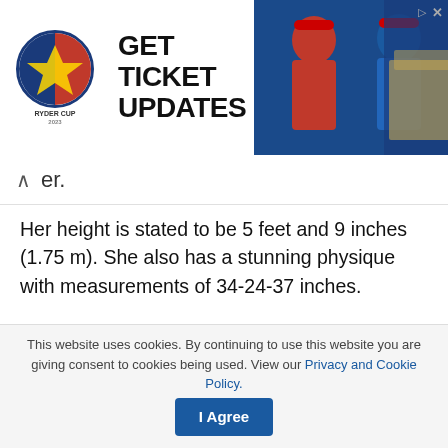[Figure (illustration): Ryder Cup advertisement banner: GET TICKET UPDATES with Ryder Cup logo and golfer photos]
er.
Her height is stated to be 5 feet and 9 inches (1.75 m). She also has a stunning physique with measurements of 34-24-37 inches.
For the time being, her net worth is unknown. She is most likely worth a few million dollars.
Her parents, on the other hand, are of Italian origin. Her mother is also a Russian by birth.
This website uses cookies. By continuing to use this website you are giving consent to cookies being used. View our Privacy and Cookie Policy.